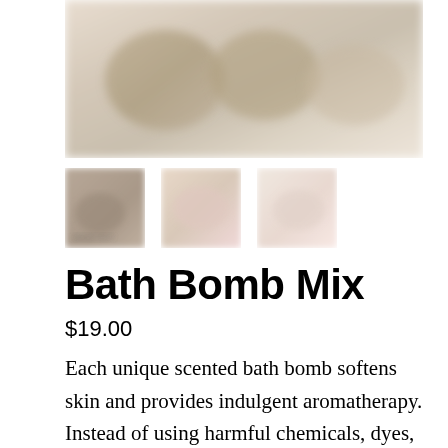[Figure (photo): Blurred product photo of bath bombs, main hero image]
[Figure (photo): Three blurred thumbnail product images of bath bombs]
Bath Bomb Mix
$19.00
Each unique scented bath bomb softens skin and provides indulgent aromatherapy. Instead of using harmful chemicals, dyes, and fragrances to achieve color and scent, we developed a simple, non-toxic approach. Our bath bombs are comprised of clean ingredients, cosmetic clays from the ti...